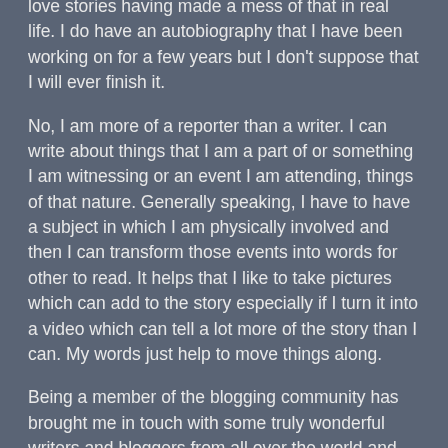love stories having made a mess of that in real life. I do have an autobiography that I have been working on for a few years but I don't suppose that I will ever finish it.
No, I am more of a reporter than a writer. I can write about things that I am a part of or something I am witnessing or an event I am attending, things of that nature. Generally speaking, I have to have a subject in which I am physically involved and then I can transform those events into words for other to read. It helps that I like to take pictures which can add to the story especially if I turn it into a video which can tell a lot more of the story than I can. My words just help to move things along.
Being a member of the blogging community has brought me in touch with some truly wonderful writers and bloggers from all over the world and my in box is filled every day with a couple of hundred blogs awaiting my attention. My problem is I do not have the time to read every one and I generally do a quick scan to see if it is interesting enough (to me) to actually read and digest the content and then add a “Like” if I find it deserves one (in my eyes).
I presume that most other bloggers treat their inbox the same way